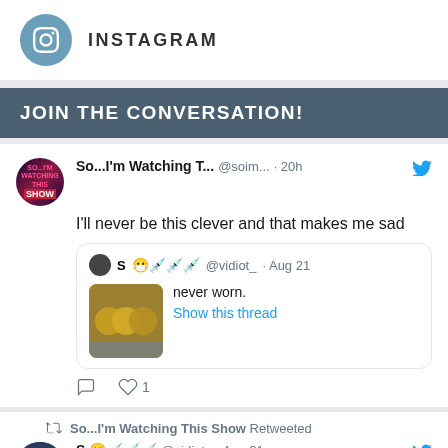[Figure (logo): Instagram icon circle with camera icon and INSTAGRAM text label]
JOIN THE CONVERSATION!
So...I'm Watching T... @soim... · 20h — I'll never be this clever and that makes me sad
S 😷 @vidiot_ · Aug 21 — never worn. Show this thread
♡ 1
So...I'm Watching This Show Retweeted
S 😷 @vidiot_ · Aug 21 — never worn.